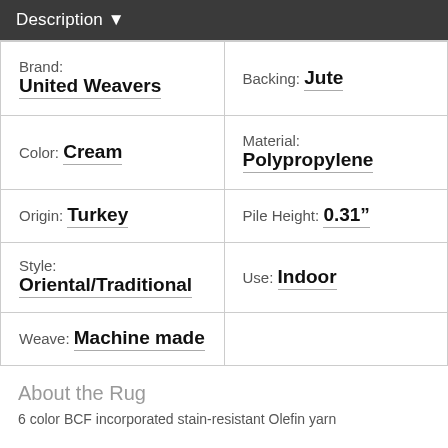Description ▼
| Brand: United Weavers | Backing: Jute |
| Color: Cream | Material: Polypropylene |
| Origin: Turkey | Pile Height: 0.31" |
| Style: Oriental/Traditional | Use: Indoor |
| Weave: Machine made |  |
About the Rug
6-color BCF incorporated stain-resistant Olefin yarn